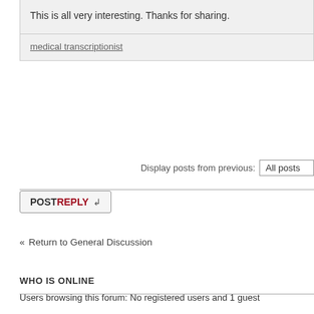This is all very interesting. Thanks for sharing.
medical transcriptionist
Display posts from previous: All posts
POSTREPLY ↵
« Return to General Discussion
WHO IS ONLINE
Users browsing this forum: No registered users and 1 guest
Board index